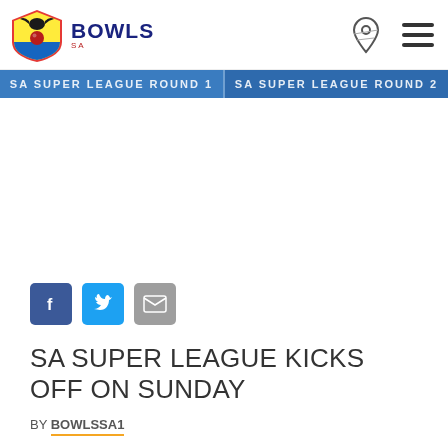BOWLS SA
[Figure (infographic): SA Super League Round 1 and SA Super League Round 2 banner in blue]
[Figure (infographic): Social media share buttons: Facebook, Twitter, Email]
SA SUPER LEAGUE KICKS OFF ON SUNDAY
BY BOWLSSA1